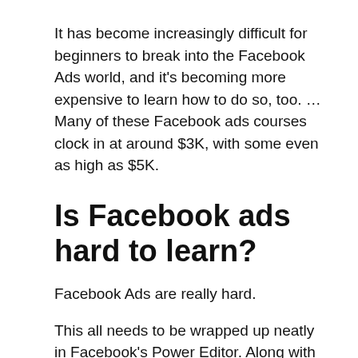It has become increasingly difficult for beginners to break into the Facebook Ads world, and it's becoming more expensive to learn how to do so, too. … Many of these Facebook ads courses clock in at around $3K, with some even as high as $5K.
Is Facebook ads hard to learn?
Facebook Ads are really hard.
This all needs to be wrapped up neatly in Facebook's Power Editor. Along with that, you need to know how to advertise, which audience to target, how much to pay per